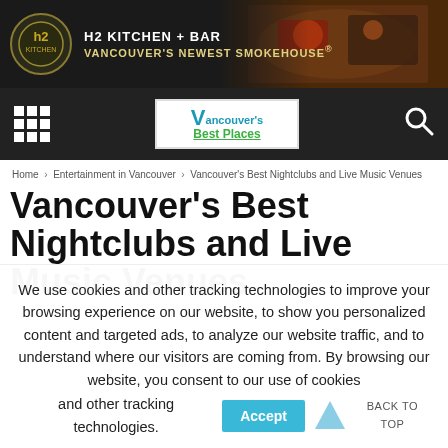[Figure (other): H2 Kitchen + Bar advertisement banner with dark background, logo on left, food photo on right. Text: H2 Kitchen + Bar, Vancouver's Newest Smokehouse]
[Figure (other): Vancouver's Best Places website navigation bar with grid menu icon, logo in center, search icon on right]
Home > Entertainment in Vancouver > Vancouver's Best Nightclubs and Live Music Venues
Vancouver's Best Nightclubs and Live Music Venues
We use cookies and other tracking technologies to improve your browsing experience on our website, to show you personalized content and targeted ads, to analyze our website traffic, and to understand where our visitors are coming from. By browsing our website, you consent to our use of cookies and other tracking technologies.